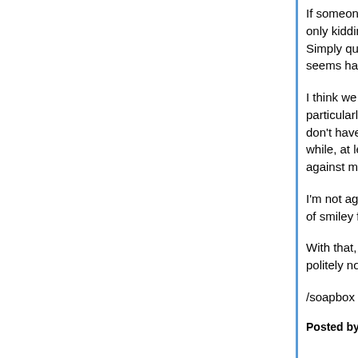If someone takes offense to a comment you didn't apologize and explain that you acted badly, perhaps only kidding, as the case may be, or make a clarification. If they are attacking you, don't retaliate. Simply question what that person means by their behavior. When someone takes a position that seems harsh, ask "what are you saying...?" rather than "why are you saying...?" or similar.
I think we all need to make an effort to approach others in ways least likely to escalate tensions, particularly when discussing controversial subjects, and particularly when coversing with people we don't have established relationships with. We'll all slip from time to time. I know I slip at least once in a while, at least for me, but I'm going to try harder to be more forgiving of others when they trespass against me.
I'm not against banter, but people should make an effort to signal their intent, perhaps with liberal use of smiley faces or winking faces (not stalker, of course), or whatever.
With that, trolls are trolls, and, at some point, they need to be dealt with. Commenters - ignore or politely note that their behavior is unacceptable to the blog owners. Blog owners - do as you will.
/soapbox
Posted by: hairshirthedonist | October 16, 2009 at 10:39 AM